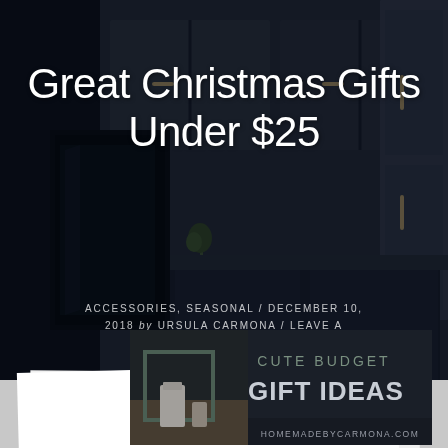[Figure (photo): Dark kitchen with navy/charcoal cabinets, gold hardware, and professional appliances as background]
Great Christmas Gifts Under $25
ACCESSORIES, SEASONAL / DECEMBER 10, 2018 by URSULA CARMONA / LEAVE A COMMENT
[Figure (infographic): Styled image with text overlay reading CUTE BUDGET GIFT IDEAS homemadebycarmona.com on dark background with home decor items]